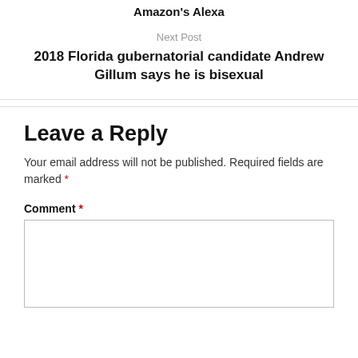Amazon's Alexa
Next Post
2018 Florida gubernatorial candidate Andrew Gillum says he is bisexual
Leave a Reply
Your email address will not be published. Required fields are marked *
Comment *